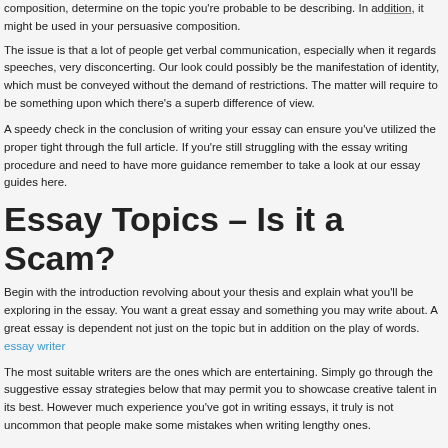composition, determine on the topic you're probable to be describing. In addition, it might be used in your persuasive composition.
The issue is that a lot of people get verbal communication, especially when it regards speeches, very disconcerting. Our look could possibly be the manifestation of identity, which must be conveyed without the demand of restrictions. The matter will require to be something upon which there's a superb difference of view.
A speedy check in the conclusion of writing your essay can ensure you've utilized the proper tight through the full article. If you're still struggling with the essay writing procedure and need to have more guidance remember to take a look at our essay guides here.
Essay Topics – Is it a Scam?
Begin with the introduction revolving about your thesis and explain what you'll be exploring in the essay. You want a great essay and something you may write about. A great essay is dependent not just on the topic but in addition on the play of words. essay writer
The most suitable writers are the ones which are entertaining. Simply go through the suggestive essay strategies below that may permit you to showcase creative talent in its best. However much experience you've got in writing essays, it truly is not uncommon that people make some mistakes when writing lengthy ones.